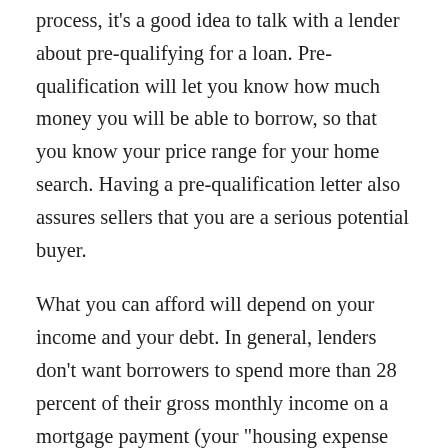process, it's a good idea to talk with a lender about pre-qualifying for a loan. Pre-qualification will let you know how much money you will be able to borrow, so that you know your price range for your home search. Having a pre-qualification letter also assures sellers that you are a serious potential buyer.
What you can afford will depend on your income and your debt. In general, lenders don't want borrowers to spend more than 28 percent of their gross monthly income on a mortgage payment (your "housing expense ratio") or more than 36 percent on all debt payments combined (your "debt-to-income ratio.") They will define your total mortgage payment as the sum of your principal, interest, taxes, and insurance (known by the acronym PITI), and they will define your long-term